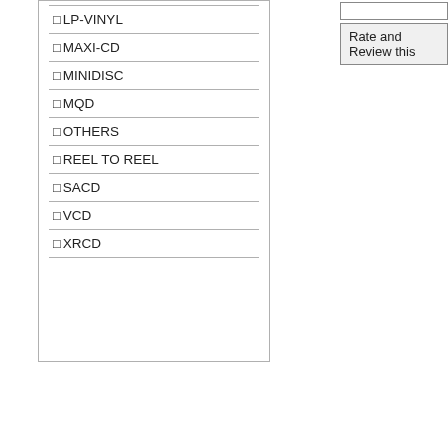☐LP-VINYL
☐MAXI-CD
☐MINIDISC
☐MQD
☐OTHERS
☐REEL TO REEL
☐SACD
☐VCD
☐XRCD
Rate and Review this